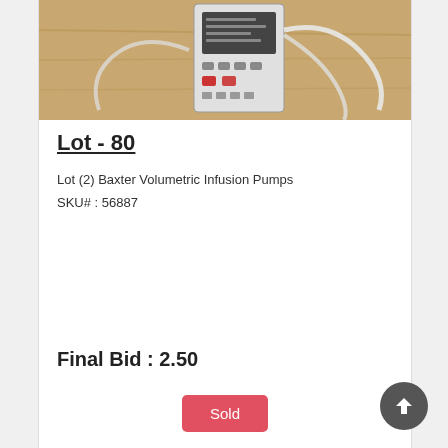[Figure (photo): Photo of a Baxter Volumetric Infusion Pump sitting on a wooden table surface with tubing/cable visible]
Lot - 80
Lot (2) Baxter Volumetric Infusion Pumps
SKU# : 56887
Final Bid : 2.50
Sold